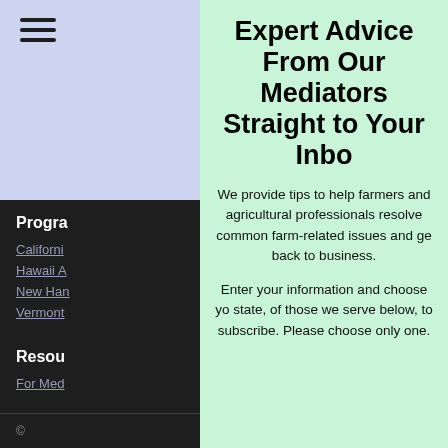[Figure (screenshot): Hamburger menu icon in light purple/lavender sidebar header]
Progra
Californi
Hawaii A
New Han
Vermont
Resou
For Med
©
Expert Advice From Our Mediators Straight to Your Inbo
We provide tips to help farmers and agricultural professionals resolve common farm-related issues and ge back to business.
Enter your information and choose yo state, of those we serve below, to subscribe. Please choose only one.